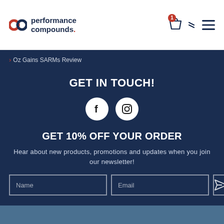performance compounds.
> Oz Gains SARMs Review
GET IN TOUCH!
[Figure (illustration): Facebook and Instagram social media icons as white circles with black logos]
GET 10% OFF YOUR ORDER
Hear about new products, promotions and updates when you join our newsletter!
© Copyright 2021. All Rights Reserved.